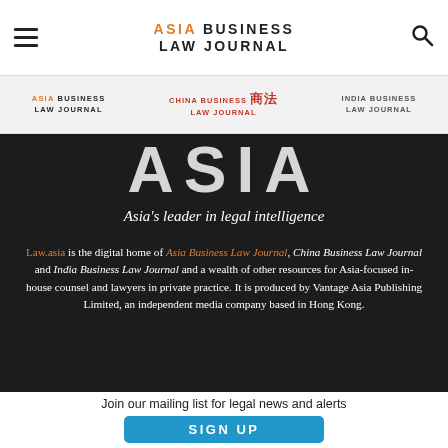Asia Business Law Journal
[Figure (logo): Three publication logos: Asia Business Law Journal (orange/dark), China Business Law Journal (red with Chinese characters), India Business Law Journal (gray)]
ASIA
Asia's leader in legal intelligence
Law.asia is the digital home of Asia Business Law Journal, China Business Law Journal and India Business Law Journal and a wealth of other resources for Asia-focused in-house counsel and lawyers in private practice. It is produced by Vantage Asia Publishing Limited, an independent media company based in Hong Kong.
Join our mailing list for legal news and alerts
SIGN UP